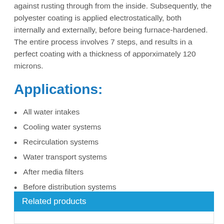against rusting through from the inside. Subsequently, the polyester coating is applied electrostatically, both internally and externally, before being furnace-hardened. The entire process involves 7 steps, and results in a perfect coating with a thickness of apporximately 120 microns.
Applications:
All water intakes
Cooling water systems
Recirculation systems
Water transport systems
After media filters
Before distribution systems
Before sprinkler systems
Related products